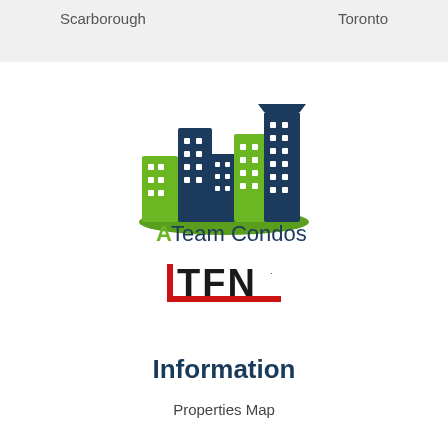Scarborough    Toronto
[Figure (logo): ATeam Condos logo with stylized city buildings in green and dark navy blue, with green grass arc at the bottom, and text 'ATeam Condos' below]
[Figure (logo): TFN logo with bold black letters TFN and a red L-shaped bracket/underline graphic]
Information
Properties Map